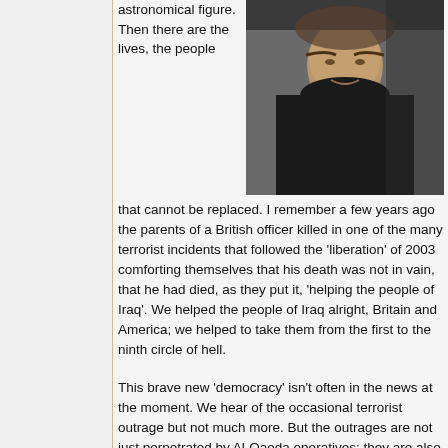astronomical figure. Then there are the lives, the people that cannot be replaced. I remember a few years ago the parents of a British officer killed in one of the many terrorist incidents that followed the 'liberation' of 2003 comforting themselves that his death was not in vain, that he had died, as they put it, 'helping the people of Iraq'. We helped the people of Iraq alright, Britain and America; we helped to take them from the first to the ninth circle of hell.
[Figure (photo): A person wearing dark clothing, photographed from upper body, dark background]
This brave new 'democracy' isn't often in the news at the moment. We hear of the occasional terrorist outrage but not much more. But the outrages are not just perpetrated by Al-Qaeda operatives; they are also perpetrated at the behest of the state in acts of medieval barbarism.
Last month Iraq's interior ministry decided that a haircut was worthy of death. Well, that's been the practical result of the announcement that the 'emo' style was a sign of devil worship, one that